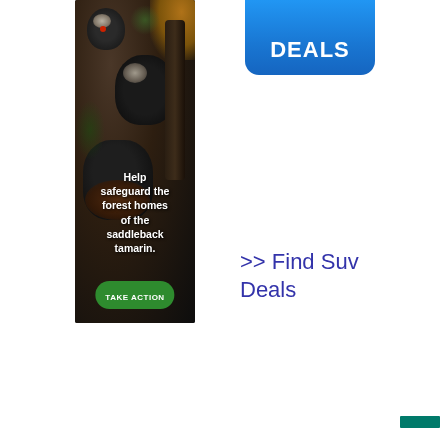[Figure (illustration): Wildlife conservation advertisement showing saddleback tamarins (black monkeys) in a forest setting with text overlay: 'Help safeguard the forest homes of the saddleback tamarin.' and a green 'TAKE ACTION' button at the bottom.]
[Figure (other): Blue rounded rectangle button/banner with bold white text 'DEALS' visible at the top right area of the page, partially cropped.]
>> Find Suv Deals
[Figure (other): Small dark teal/green horizontal rectangle in the bottom right corner.]